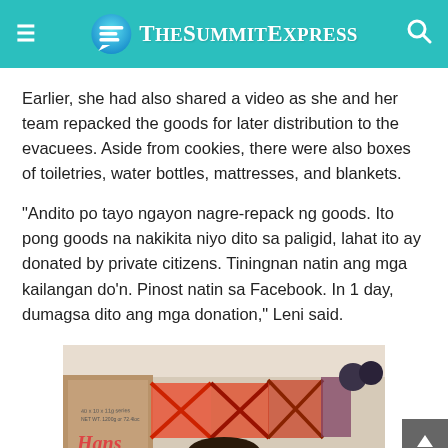TheSummitExpress
Earlier, she had also shared a video as she and her team repacked the goods for later distribution to the evacuees. Aside from cookies, there were also boxes of toiletries, water bottles, mattresses, and blankets.
“Andito po tayo ngayon nagre-repack ng goods. Ito pong goods na nakikita niyo dito sa paligid, lahat ito ay donated by private citizens. Tiningnan natin ang mga kailangan do’n. Pinost natin sa Facebook. In 1 day, dumagsa dito ang mga donation,” Leni said.
[Figure (photo): Photo of boxes and donation goods being repacked, with a person visible at the bottom of the frame.]